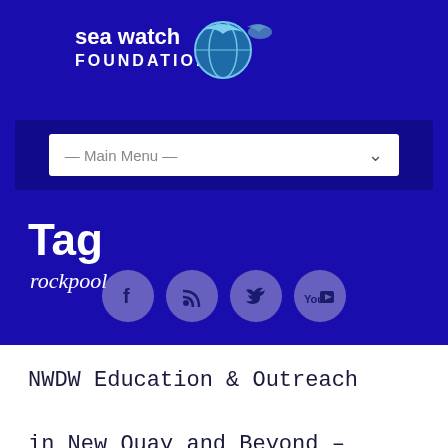[Figure (logo): Sea Watch Foundation logo with dolphin and globe icon, plus a whale/dolphin silhouette to the right]
[Figure (screenshot): Navigation dropdown selector showing — Main Menu —]
Tag
rockpool
[Figure (infographic): Social media icons row: Facebook, RSS, Twitter, YouTube — circular grey/blue buttons]
NWDW Education & Outreach in New Quay and Beyond –